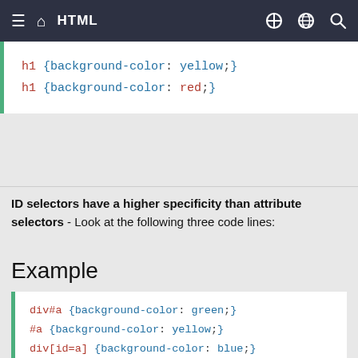HTML
[Figure (screenshot): Code block showing CSS: h1 {background-color: yellow;} h1 {background-color: red;}]
Try it Yourself »
ID selectors have a higher specificity than attribute selectors - Look at the following three code lines:
Example
[Figure (screenshot): Code block showing CSS: div#a {background-color: green;} #a {background-color: yellow;} div[id=a] {background-color: blue;}]